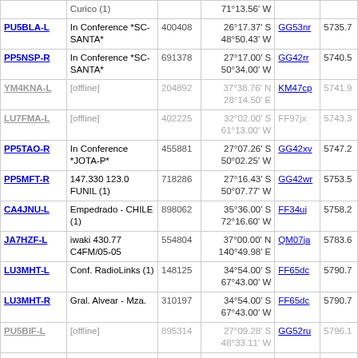| Callsign | Description | Node | Coordinates | Grid | Distance |
| --- | --- | --- | --- | --- | --- |
| [partial row - Curico(1)] |  |  | 71°13.56' W |  |  |
| PU5BLA-L | In Conference *SC-SANTA* | 400408 | 26°17.37' S 48°50.43' W | GG53nr | 5735.7 |
| PP5NSP-R | In Conference *SC-SANTA* | 691378 | 27°17.00' S 50°34.00' W | GG42rr | 5740.5 |
| YM4KNA-L | [offline] | 204892 | 37°38.76' N 28°14.50' E | KM47cp | 5741.9 |
| LU7FMA-L | [offline] | 402225 | 32°02.00' S 61°13.00' W | FF97jx | 5743.3 |
| PP5TAO-R | In Conference *JOTA-P* | 455881 | 27°07.26' S 50°02.25' W | GG42xv | 5747.2 |
| PP5MFT-R | 147.330 123.0 FUNIL (1) | 718286 | 27°16.43' S 50°07.77' W | GG42wr | 5753.5 |
| CA4JNU-L | Empedrado - CHILE (1) | 898062 | 35°36.00' S 72°16.60' W | FF34uj | 5758.2 |
| JA7HZF-L | iwaki 430.77 C4FM/05-05 | 554804 | 37°00.00' N 140°49.98' E | QM07ja | 5783.6 |
| LU3MHT-L | Conf. RadioLinks (1) | 148125 | 34°54.00' S 67°43.00' W | FF65dc | 5790.7 |
| LU3MHT-R | Gral. Alvear - Mza. | 310197 | 34°54.00' S 67°43.00' W | FF65dc | 5790.7 |
| PU5BIF-L | [offline] | 895314 | 27°09.28' S 48°33.11' W | GG52ru | 5796.1 |
| JK1JXY-L | [offline] | 191129 | 36°33.73' N 140°37.92' E | QM06hn | 5814.7 |
| LU8FJH-L | 147.050 T136.5 Rosario (1) | 190696 | 32°58.11' S 60°40.03' W | FF97pa | 5815.5 |